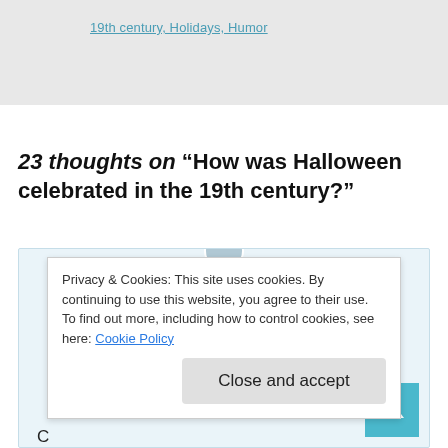19th century, Holidays, Humor
23 thoughts on “How was Halloween celebrated in the 19th century?”
Privacy & Cookies: This site uses cookies. By continuing to use this website, you agree to their use.
To find out more, including how to control cookies, see here: Cookie Policy
Close and accept
C
th caring, especially when you have young c…l.
~clink~